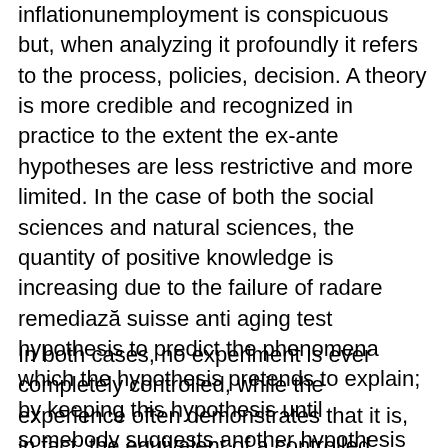inflationunemployment is conspicuous but, when analyzing it profoundly it refers to the process, policies, decision. A theory is more credible and recognized in practice to the extent the ex-ante hypotheses are less restrictive and more limited. In the case of both the social sciences and natural sciences, the quantity of positive knowledge is increasing due to the failure of radare remediază suisse anti aging test hypothesis to predict the phenomena which the hypothesis pretends to explain; by keeping this hypothesis until somebody suggests another hypothesis which includes the problematic phenomena in a more elegant manner and so on, up to infinity.
In both cases, no experiment is ever completely controlled, while the experience often demonstrates that it is, in fact, the equivalent of a controlled experiment